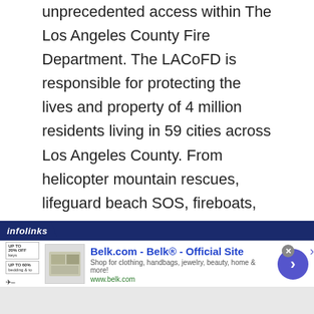unprecedented access within The Los Angeles County Fire Department. The LACoFD is responsible for protecting the lives and property of 4 million residents living in 59 cities across Los Angeles County. From helicopter mountain rescues, lifeguard beach SOS, fireboats, hazmat units, to California's raging wildfires... they do it all. These fire fighters are true everyday heroes and their compelling stories will be told alongside the heart-pounding action of unpredictable and dangerous circumstances as they face the front lines of life and death. From the producers of NBC's hit drama Chicago Fire comes Real Heroes. Real Calls. Real Drama.
[Figure (screenshot): Infolinks advertisement banner for Belk.com - Belk® - Official Site. Shows 'Shop for clothing, handbags, jewelry, beauty, home & more!' and www.belk.com]